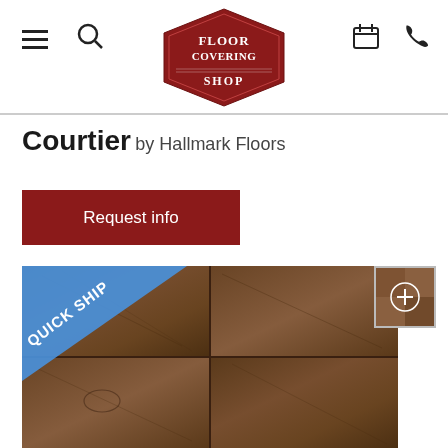[Figure (logo): Floor Covering Shop logo — red hexagonal badge with white serif text reading FLOOR COVERING SHOP]
Courtier by Hallmark Floors
Request info
[Figure (photo): Wood flooring product photo showing rustic dark brown wood planks with a diagonal blue 'QUICK SHIP' banner in the top-left corner]
[Figure (photo): Small thumbnail of a second flooring product image with a + zoom icon overlay]